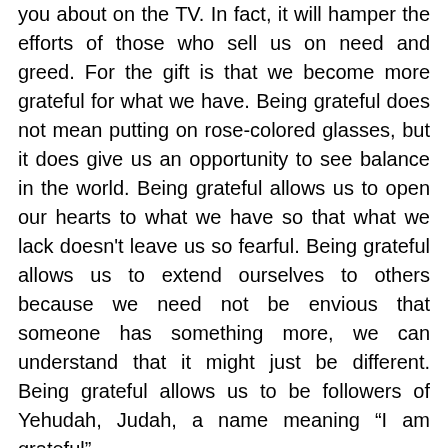you about on the TV. In fact, it will hamper the efforts of those who sell us on need and greed. For the gift is that we become more grateful for what we have. Being grateful does not mean putting on rose-colored glasses, but it does give us an opportunity to see balance in the world. Being grateful allows us to open our hearts to what we have so that what we lack doesn't leave us so fearful. Being grateful allows us to extend ourselves to others because we need not be envious that someone has something more, we can understand that it might just be different. Being grateful allows us to be followers of Yehudah, Judah, a name meaning “I am grateful”.
This Chanukah, may the world be filled with gratitude for an ever evolving creation of which we are a part. May our lives be dedicated to bringing light and enlightenment into the world. May your homes be filled with joy and with love.
Wishing you each a Happy Chanukah and Wonderful